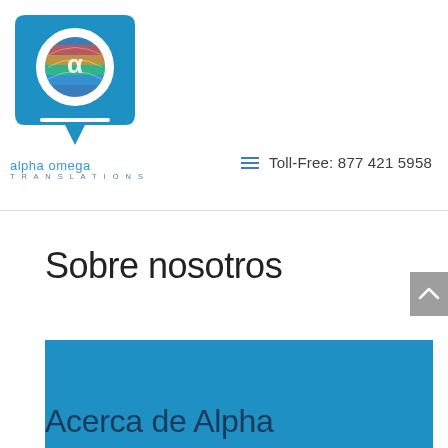[Figure (logo): Alpha Omega Translations logo: circular blue speech bubble with globe and alpha symbol, with text 'alpha omega TRANSLATIONS' below]
Toll-Free: 877 421 5958
Sobre nosotros
Acerca de Alpha